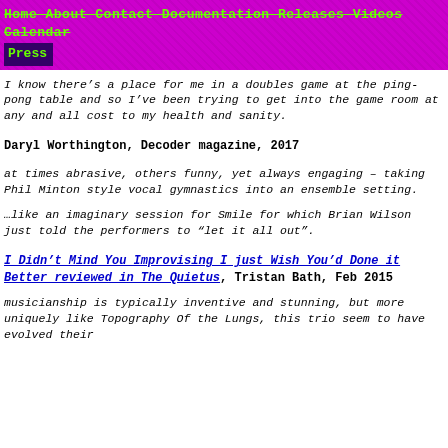Home About Contact Documentation Releases Videos Calendar Press
I know there’s a place for me in a doubles game at the ping-pong table and so I’ve been trying to get into the game room at any and all cost to my health and sanity.
Daryl Worthington, Decoder magazine, 2017
at times abrasive, others funny, yet always engaging – taking Phil Minton style vocal gymnastics into an ensemble setting.
…like an imaginary session for Smile for which Brian Wilson just told the performers to “let it all out”.
I Didn’t Mind You Improvising I just Wish You’d Done it Better reviewed in The Quietus, Tristan Bath, Feb 2015
musicianship is typically inventive and stunning, but more uniquely like Topography Of the Lungs, this trio seem to have evolved their